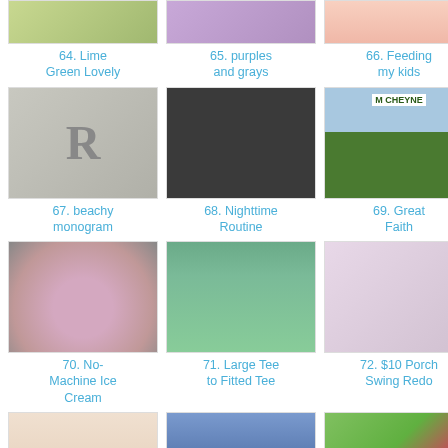[Figure (photo): Item 64 - Lime Green Lovely thumbnail]
64. Lime Green Lovely
[Figure (photo): Item 65 - purples and grays thumbnail]
65. purples and grays
[Figure (photo): Item 66 - Feeding my kids thumbnail]
66. Feeding my kids
[Figure (photo): Item 67 - beachy monogram thumbnail - letter R]
67. beachy monogram
[Figure (photo): Item 68 - Nighttime Routine thumbnail - chalkboard]
68. Nighttime Routine
[Figure (photo): Item 69 - Great Faith thumbnail - M Cheyne book]
69. Great Faith
[Figure (photo): Item 70 - No-Machine Ice Cream thumbnail]
70. No-Machine Ice Cream
[Figure (photo): Item 71 - Large Tee to Fitted Tee thumbnail]
71. Large Tee to Fitted Tee
[Figure (photo): Item 72 - $10 Porch Swing Redo thumbnail - pillow]
72. $10 Porch Swing Redo
[Figure (photo): Item 73 - Sometimes... thumbnail - A Mother's Heritage book]
73. Sometimes...
[Figure (photo): Item 74 - old shirt = new skirt thumbnail]
74. old shirt = new skirt
[Figure (photo): Item 75 - Tv console pinkified thumbnail]
75. Tv console pinkified